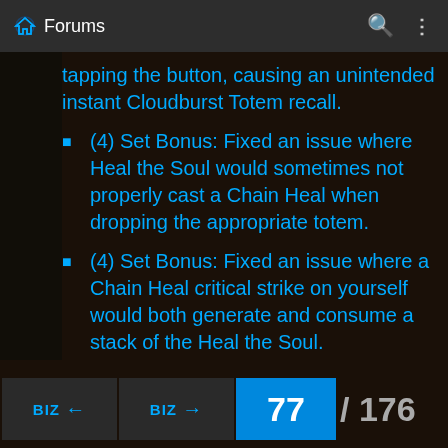Forums
tapping the button, causing an unintended instant Cloudburst Totem recall.
(4) Set Bonus: Fixed an issue where Heal the Soul would sometimes not properly cast a Chain Heal when dropping the appropriate totem.
(4) Set Bonus: Fixed an issue where a Chain Heal critical strike on yourself would both generate and consume a stack of the Heal the Soul.
(4) Set Bonus: Fixed an issue where there is a minor delay between activa... bonus...
77 / 176